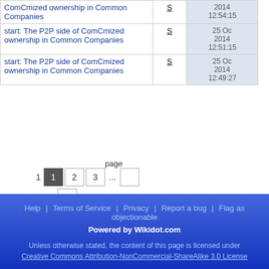| Title | S | Date |
| --- | --- | --- |
| ComCmized ownership in Common Companies | S | 2014 12:54:15 |
| start: The P2P side of ComCmized ownership in Common Companies | S | 25 Oc 2014 12:51:15 |
| start: The P2P side of ComCmized ownership in Common Companies | S | 25 Oc 2014 12:49:27 |
page
1  1  2  3  ...  »
Help | Terms of Service | Privacy | Report a bug | Flag as objectionable
Powered by Wikidot.com
Unless otherwise stated, the content of this page is licensed under Creative Commons Attribution-NonCommercial-ShareAlike 3.0 License